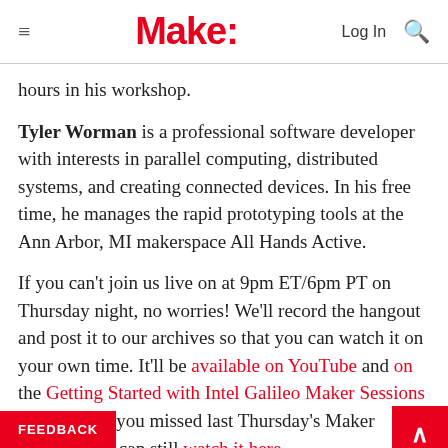Make:  Log In  🔍
hours in his workshop.
Tyler Worman is a professional software developer with interests in parallel computing, distributed systems, and creating connected devices. In his free time, he manages the rapid prototyping tools at the Ann Arbor, MI makerspace All Hands Active.
If you can't join us live on at 9pm ET/6pm PT on Thursday night, no worries! We'll record the hangout and post it to our archives so that you can watch it on your own time. It'll be available on YouTube and on the Getting Started with Intel Galileo Maker Sessions page. And if you missed last Thursday's Maker Session, you can still watch it here.